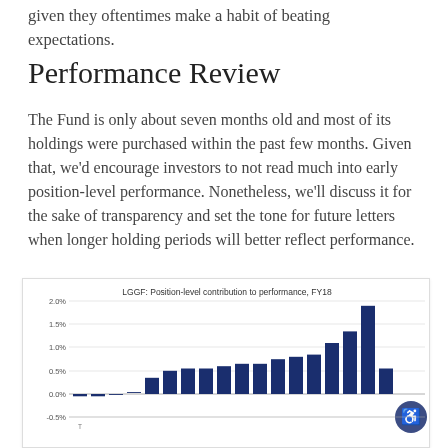given they oftentimes make a habit of beating expectations.
Performance Review
The Fund is only about seven months old and most of its holdings were purchased within the past few months. Given that, we'd encourage investors to not read much into early position-level performance. Nonetheless, we'll discuss it for the sake of transparency and set the tone for future letters when longer holding periods will better reflect performance.
[Figure (bar-chart): Bar chart showing position-level contribution to performance for FY18. Bars range from approximately -0.1% to 1.9%, with most bars positive and increasing from left to right. Y-axis labels: -0.5%, 0.0%, 0.5%, 1.0%, 1.5%, 2.0%.]